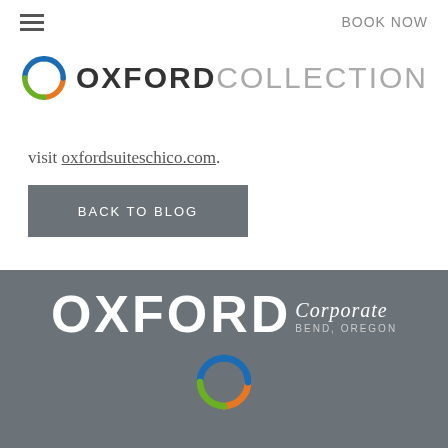BOOK NOW
[Figure (logo): Oxford Collection logo with circular swirl icon in blue, orange, green and text OXFORD COLLECTION]
visit oxfordsuiteschico.com.
BACK TO BLOG
[Figure (logo): Oxford Corporate Bend, Oregon logo in white on gray background, with circular swirl icon below]